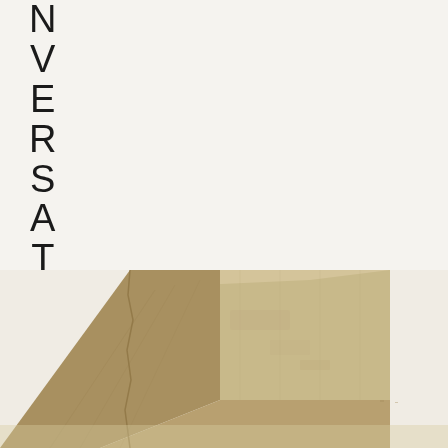NVERSATION
[Figure (photo): A weathered, tan/beige colored concrete or stone block/wedge object, partially visible, positioned in the lower-left area of the image against a light off-white background. The object appears to be a triangular or angular solid material with a rough, aged texture.]